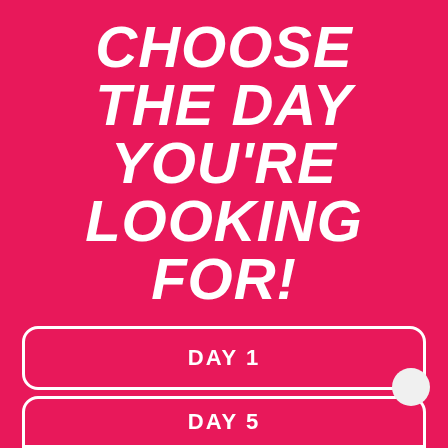CHOOSE THE DAY YOU'RE LOOKING FOR!
DAY 1
DAY 2
DAY 3
DAY 4
DAY 5